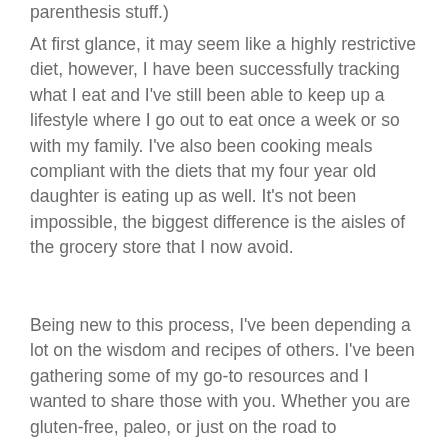parenthesis stuff)
At first glance, it may seem like a highly restrictive diet, however, I have been successfully tracking what I eat and I've still been able to keep up a lifestyle where I go out to eat once a week or so with my family. I've also been cooking meals compliant with the diets that my four year old daughter is eating up as well. It's not been impossible, the biggest difference is the aisles of the grocery store that I now avoid.
Being new to this process, I've been depending a lot on the wisdom and recipes of others. I've been gathering some of my go-to resources and I wanted to share those with you. Whether you are gluten-free, paleo, or just on the road to